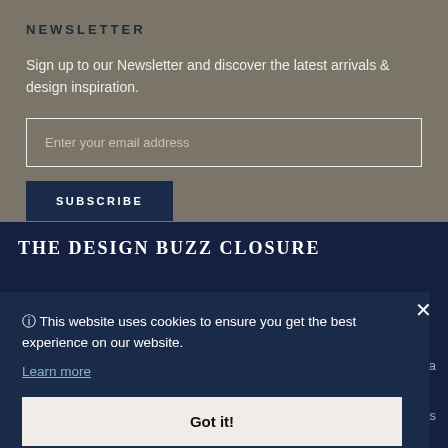NEWSLETTER
Sign up to our Newsletter and discover the latest arrivals & design inspiration.
Enter your email address
SUBSCRIBE
THE DESIGN BUZZ CLOSURE
🛈 This website uses cookies to ensure you get the best experience on our website.
Learn more
Got it!
n a
as
n